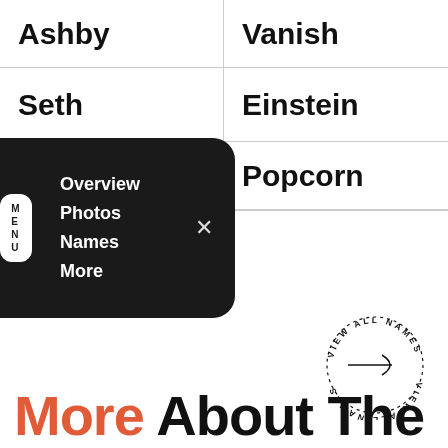Ashby
Vanish
Seth
Einstein
[Figure (infographic): Dark rounded-rectangle navigation menu overlay with white text items: Overview, Photos, Names, More; a vertical MENU tab badge on the left side; and an X close button on the right.]
Popcorn
[Figure (infographic): Circular badge with text 'VIEW ALL NAMES' arranged in a circle (top half normal, bottom half upside-down/mirrored), with an arrow pointing right in the center.]
More About The